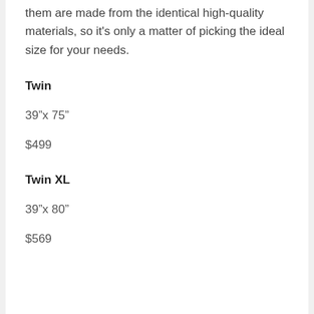them are made from the identical high-quality materials, so it's only a matter of picking the ideal size for your needs.
Twin
39”x 75”
$499
Twin XL
39”x 80”
$569